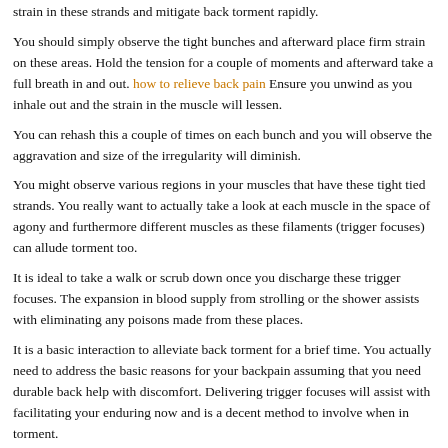strain in these strands and mitigate back torment rapidly.
You should simply observe the tight bunches and afterward place firm strain on these areas. Hold the tension for a couple of moments and afterward take a full breath in and out. how to relieve back pain Ensure you unwind as you inhale out and the strain in the muscle will lessen.
You can rehash this a couple of times on each bunch and you will observe the aggravation and size of the irregularity will diminish.
You might observe various regions in your muscles that have these tight tied strands. You really want to actually take a look at each muscle in the space of agony and furthermore different muscles as these filaments (trigger focuses) can allude torment too.
It is ideal to take a walk or scrub down once you discharge these trigger focuses. The expansion in blood supply from strolling or the shower assists with eliminating any poisons made from these places.
It is a basic interaction to alleviate back torment for a brief time. You actually need to address the basic reasons for your backpain assuming that you need durable back help with discomfort. Delivering trigger focuses will assist with facilitating your enduring now and is a decent method to involve when in torment.